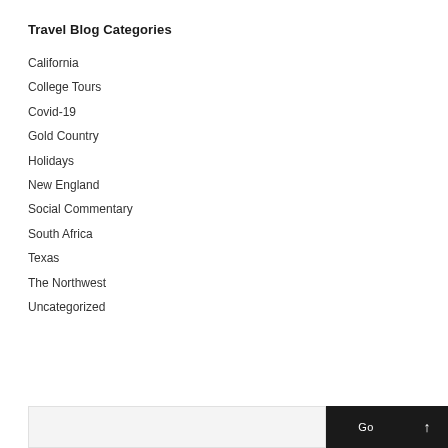Travel Blog Categories
California
College Tours
Covid-19
Gold Country
Holidays
New England
Social Commentary
South Africa
Texas
The Northwest
Uncategorized
Go